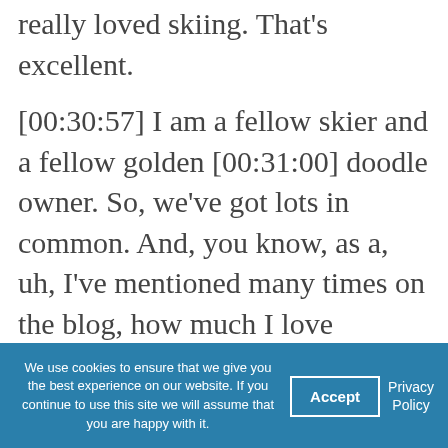really loved skiing. That's excellent.
[00:30:57] I am a fellow skier and a fellow golden [00:31:00] doodle owner. So, we've got lots in common. And, you know, as a, uh, I've mentioned many times on the blog, how much I love reading and I'm a huge fan of literature. So, the talking about story is, is really near and dear to my heart. So, thank you so much for joining us today.
[00:31:16] You've provided so much valuable perspective as to how non-profit
We use cookies to ensure that we give you the best experience on our website. If you continue to use this site we will assume that you are happy with it.
Accept
Privacy Policy